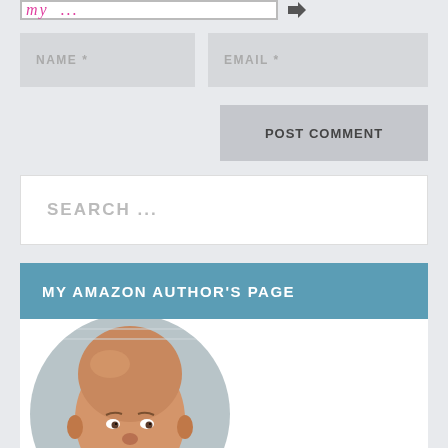[Figure (illustration): Partial view of a signature/logo in a bordered box with handwriting-style text, and a small arrow icon to the right]
NAME *
EMAIL *
POST COMMENT
SEARCH …
MY AMAZON AUTHOR'S PAGE
[Figure (photo): Circular portrait photo of a bald man with a goatee, smiling slightly, with a background of what appears to be a whiteboard or chart]